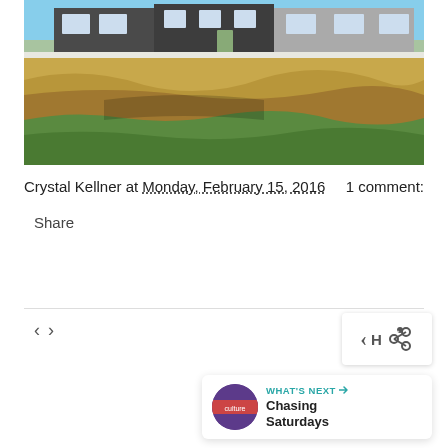[Figure (photo): Exterior photo of a new construction house with gray siding, visible windows, and a sandy/grassy yard in the foreground under a blue sky.]
Crystal Kellner at Monday, February 15, 2016    1 comment:
Share
‹ ›
[Figure (infographic): Share icon widget and What's Next card showing 'Chasing Saturdays' with a circular thumbnail.]